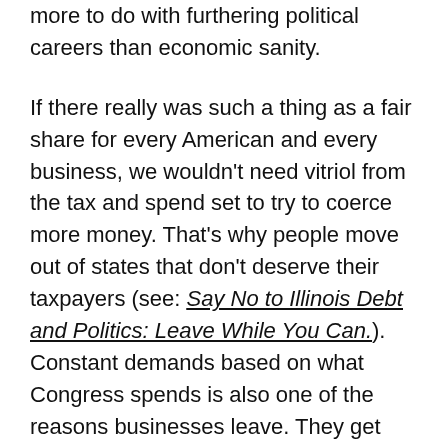more to do with furthering political careers than economic sanity.
If there really was such a thing as a fair share for every American and every business, we wouldn't need vitriol from the tax and spend set to try to coerce more money. That's why people move out of states that don't deserve their taxpayers (see: Say No to Illinois Debt and Politics: Leave While You Can.). Constant demands based on what Congress spends is also one of the reasons businesses leave. They get better treatment in other countries.
Where do inversions come from? Democrats.
Inversions are an inflammatory issue for members